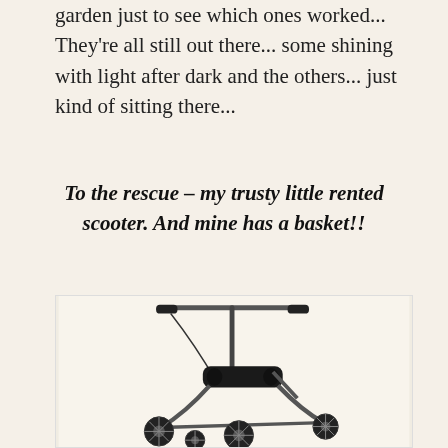garden just to see which ones worked... They're all still out there... some shining with light after dark and the others... just kind of sitting there...
To the rescue – my trusty little rented scooter. And mine has a basket!!
[Figure (photo): A knee scooter (knee walker) with four wheels, black padded knee rest seat, adjustable handlebar with hand grips and brake lever, black metal frame.]